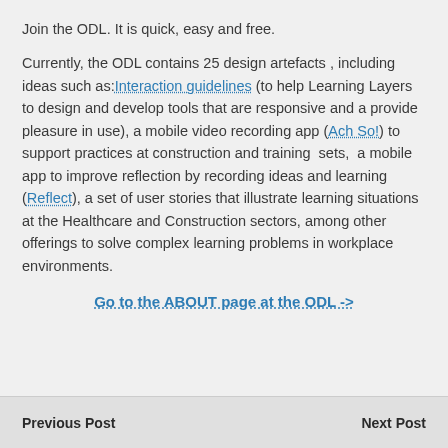Join the ODL. It is quick, easy and free.
Currently, the ODL contains 25 design artefacts , including ideas such as: Interaction guidelines (to help Learning Layers to design and develop tools that are responsive and a provide pleasure in use), a mobile video recording app (Ach So!) to support practices at construction and training sets, a mobile app to improve reflection by recording ideas and learning (Reflect), a set of user stories that illustrate learning situations at the Healthcare and Construction sectors, among other offerings to solve complex learning problems in workplace environments.
Go to the ABOUT page at the ODL ->
Previous Post    Next Post